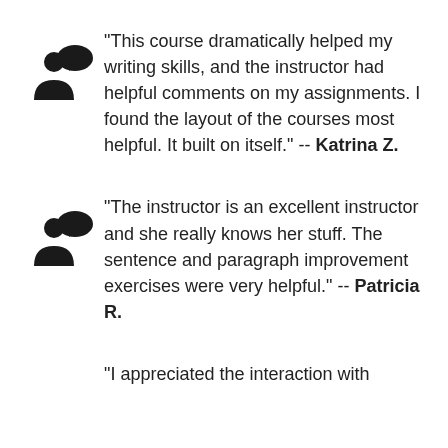"This course dramatically helped my writing skills, and the instructor had helpful comments on my assignments. I found the layout of the courses most helpful. It built on itself." -- Katrina Z.
"The instructor is an excellent instructor and she really knows her stuff. The sentence and paragraph improvement exercises were very helpful." -- Patricia R.
"I appreciated the interaction with